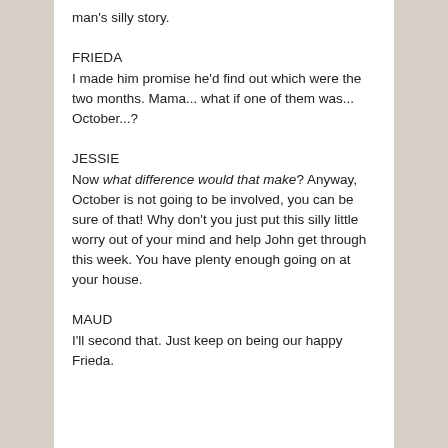man's silly story.
FRIEDA
I made him promise he'd find out which were the two months.  Mama... what if one of them was...  October...?
JESSIE
Now what difference would that make?  Anyway, October is not going to be involved, you can be sure of that!  Why don't you just put this silly little worry out of your mind and help John get through this week.  You have plenty enough going on at your house.
MAUD
I'll second that.  Just keep on being our happy Frieda.